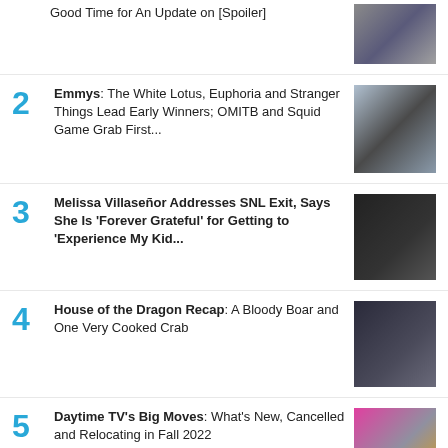Good Time for An Update on [Spoiler]
2 Emmys: The White Lotus, Euphoria and Stranger Things Lead Early Winners; OMITB and Squid Game Grab First...
3 Melissa Villaseñor Addresses SNL Exit, Says She Is 'Forever Grateful' for Getting to 'Experience My Kid...
4 House of the Dragon Recap: A Bloody Boar and One Very Cooked Crab
5 Daytime TV's Big Moves: What's New, Cancelled and Relocating in Fall 2022